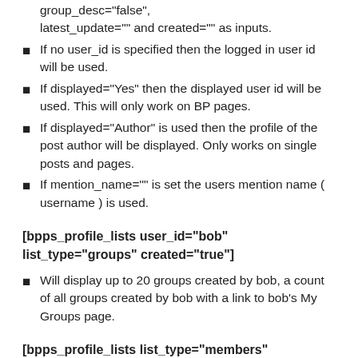group_desc="false", latest_update="" and created="" as inputs.
If no user_id is specified then the logged in user id will be used.
If displayed="Yes" then the displayed user id will be used. This will only work on BP pages.
If displayed="Author" is used then the profile of the post author will be displayed. Only works on single posts and pages.
If mention_name="" is set the users mention name ( username ) is used.
[bpps_profile_lists user_id="bob" list_type="groups" created="true"]
Will display up to 20 groups created by bob, a count of all groups created by bob with a link to bob's My Groups page.
[bpps_profile_lists list_type="members"